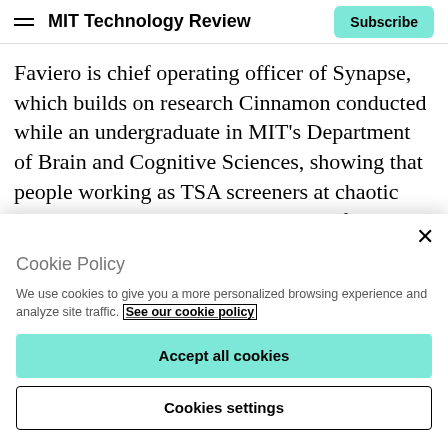MIT Technology Review | Subscribe
Faviero is chief operating officer of Synapse, which builds on research Cinnamon conducted while an undergraduate in MIT’s Department of Brain and Cognitive Sciences, showing that people working as TSA screeners at chaotic security checkpoints can be prone to fatigue and distraction. The three alumni founded the company after realizing that they might be able to improve the process with AI.
Cookie Policy
We use cookies to give you a more personalized browsing experience and analyze site traffic. See our cookie policy
Accept all cookies
Cookies settings